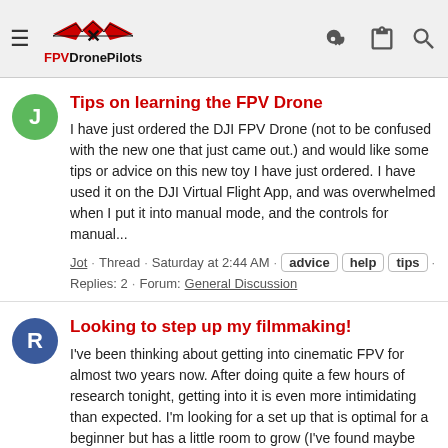FPVDronePilots
Tips on learning the FPV Drone
I have just ordered the DJI FPV Drone (not to be confused with the new one that just came out.) and would like some tips or advice on this new toy I have just ordered. I have used it on the DJI Virtual Flight App, and was overwhelmed when I put it into manual mode, and the controls for manual...
Jot · Thread · Saturday at 2:44 AM · advice help tips · Replies: 2 · Forum: General Discussion
Looking to step up my filmmaking!
I've been thinking about getting into cinematic FPV for almost two years now. After doing quite a few hours of research tonight, getting into it is even more intimidating than expected. I'm looking for a set up that is optimal for a beginner but has a little room to grow (I've found maybe the...
RealAverageJunior · Thread · Aug 16, 2022 · advice beginner cinematic fpv cinematic help noob oblivion pnn protek Replies: 3 · Forum: General...